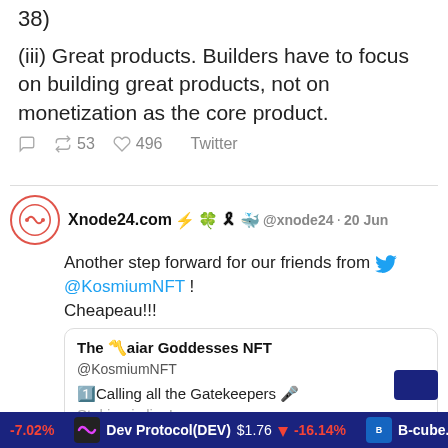38)
(iii) Great products. Builders have to focus on building great products, not on monetization as the core product.
↩ 53   ♡ 496   Twitter
Xnode24.com ⚡ 🌿 🎗 🐳 @xnode24 · 20 Jun
Another step forward for our friends from 🐦 @KosmiumNFT ! Cheapeau!!!
The 〽️aiar Goddesses NFT @KosmiumNFT 1️⃣Calling all the Gatekeepers 🎤 Staking is live!
Dev Protocol(DEV) $1.76  -16.14%   B-cube.ai(B